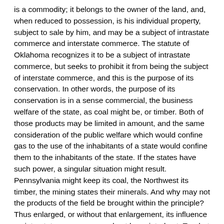is a commodity; it belongs to the owner of the land, and, when reduced to possession, is his individual property, subject to sale by him, and may be a subject of intrastate commerce and interstate commerce. The statute of Oklahoma recognizes it to be a subject of intrastate commerce, but seeks to prohibit it from being the subject of interstate commerce, and this is the purpose of its conservation. In other words, the purpose of its conservation is in a sense commercial, the business welfare of the state, as coal might be, or timber. Both of those products may be limited in amount, and the same consideration of the public welfare which would confine gas to the use of the inhabitants of a state would confine them to the inhabitants of the state. If the states have such power, a singular situation might result. Pennsylvania might keep its coal, the Northwest its timber, the mining states their minerals. And why may not the products of the field be brought within the principle? Thus enlarged, or without that enlargement, its influence on interstate commerce need not be pointed out. To what consequences does such power tend? If one state has it, all states have it; embargo may be retaliated by embargo, and commerce will be halted at state lines. And yet we have said that 'in matters of foreign and interstate commerce there are no state lines.' In such commerce, instead of the states, a new power appears and a new welfare,—a welfare which transcends that of any state. But rather let us say it is